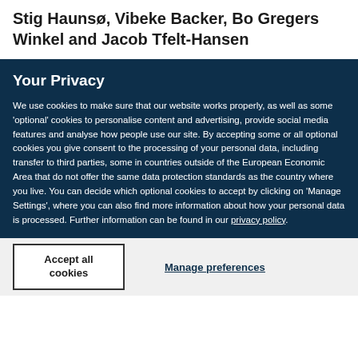Stig Haunsø, Vibeke Backer, Bo Gregers Winkel and Jacob Tfelt-Hansen
Your Privacy
We use cookies to make sure that our website works properly, as well as some 'optional' cookies to personalise content and advertising, provide social media features and analyse how people use our site. By accepting some or all optional cookies you give consent to the processing of your personal data, including transfer to third parties, some in countries outside of the European Economic Area that do not offer the same data protection standards as the country where you live. You can decide which optional cookies to accept by clicking on 'Manage Settings', where you can also find more information about how your personal data is processed. Further information can be found in our privacy policy.
Accept all cookies
Manage preferences